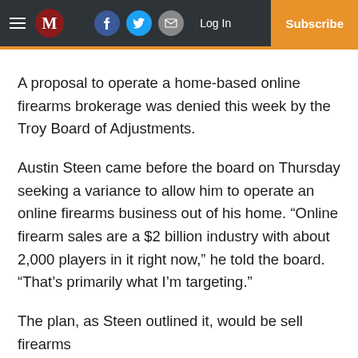M  Log In  Subscribe
A proposal to operate a home-based online firearms brokerage was denied this week by the Troy Board of Adjustments.
Austin Steen came before the board on Thursday seeking a variance to allow him to operate an online firearms business out of his home. “Online firearm sales are a $2 billion industry with about 2,000 players in it right now,” he told the board. “That’s primarily what I’m targeting.”
The plan, as Steen outlined it, would be sell firearms